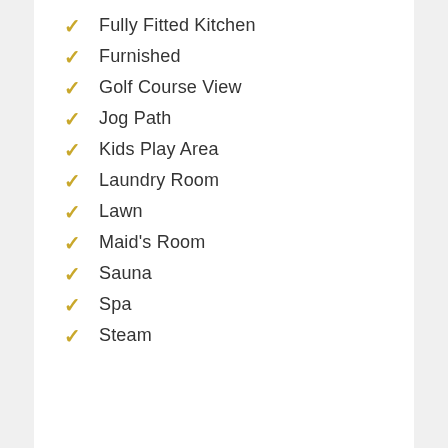Fully Fitted Kitchen
Furnished
Golf Course View
Jog Path
Kids Play Area
Laundry Room
Lawn
Maid's Room
Sauna
Spa
Steam